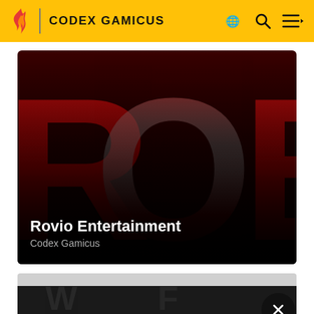CODEX GAMICUS
[Figure (screenshot): Rovio Entertainment hero banner showing large red 'RO' letters on a dark red to black gradient background. White bold text reads 'Rovio Entertainment' with gray subtitle 'Codex Gamicus']
[Figure (screenshot): Partially visible second article card with a dark background and faded text, with a black circular close (X) button overlaid]